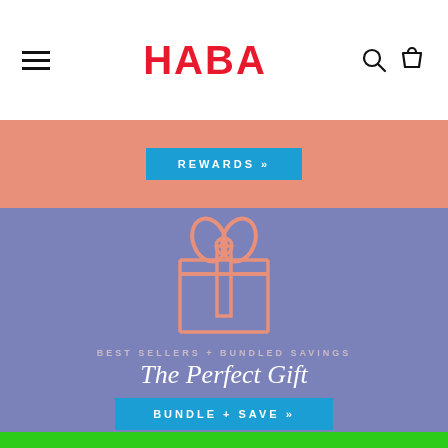[Figure (logo): HABA brand logo in red bold text with hamburger menu icon on left and search/cart icons on right in a white navigation bar]
REWARDS »
[Figure (illustration): Gift box icon outline in salmon/pink color on a blue-purple background]
BEST SELLERS + BUNDLED SAVINGS
The Perfect Gift
BUNDLE + SAVE »